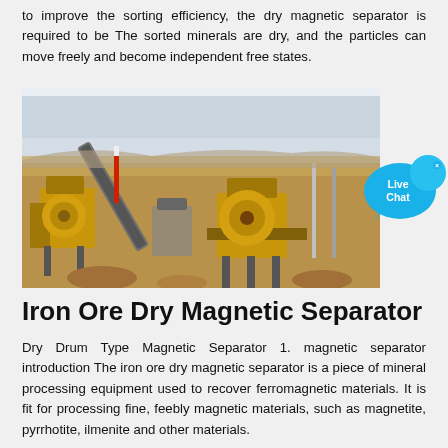to improve the sorting efficiency, the dry magnetic separator is required to be The sorted minerals are dry, and the particles can move freely and become independent free states.
[Figure (photo): Outdoor industrial mining site showing yellow heavy equipment including crushers and conveyor belts on dry sandy terrain.]
[Figure (infographic): Live Chat button bubble in blue.]
Iron Ore Dry Magnetic Separator
Dry Drum Type Magnetic Separator 1. magnetic separator introduction The iron ore dry magnetic separator is a piece of mineral processing equipment used to recover ferromagnetic materials. It is fit for processing fine, feebly magnetic materials, such as magnetite, pyrrhotite, ilmenite and other materials.